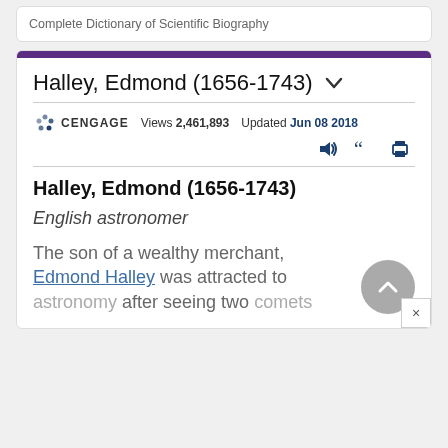Complete Dictionary of Scientific Biography
Halley, Edmond (1656-1743)
Views 2,461,893  Updated Jun 08 2018
Halley, Edmond (1656-1743)
English astronomer
The son of a wealthy merchant, Edmond Halley was attracted to astronomy after seeing two comets